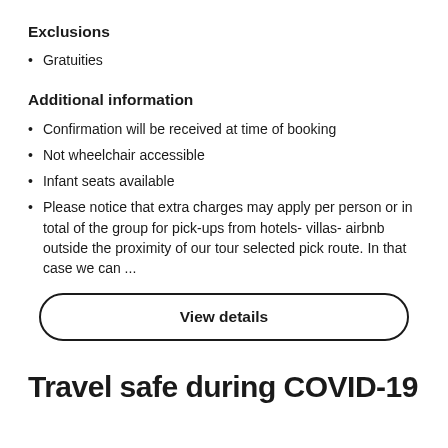Exclusions
Gratuities
Additional information
Confirmation will be received at time of booking
Not wheelchair accessible
Infant seats available
Please notice that extra charges may apply per person or in total of the group for pick-ups from hotels- villas- airbnb outside the proximity of our tour selected pick route. In that case we can ...
View details
Travel safe during COVID-19